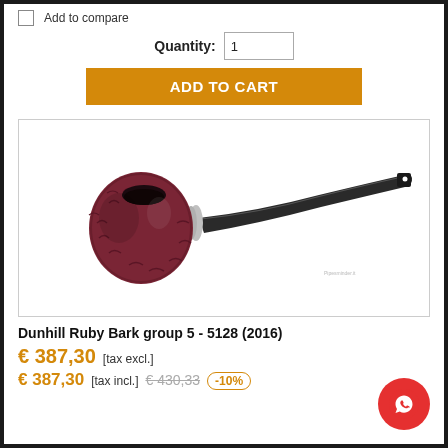☐ Add to compare
Quantity: 1
ADD TO CART
[Figure (photo): Dunhill Ruby Bark tobacco pipe, group 5 model 5128, red/brown rusticated bowl with black stem and silver band, on white background]
Dunhill Ruby Bark group 5 - 5128 (2016)
€ 387,30 [tax excl.]
€ 387,30 [tax incl.] € 430,33 -10%